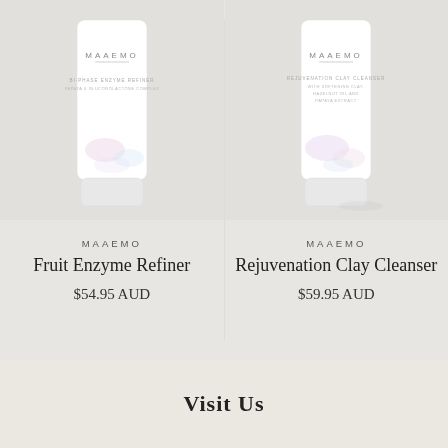[Figure (photo): White tube of MAAEMO Fruit Enzyme Refiner skincare product on light grey background]
[Figure (photo): White tube of MAAEMO Rejuvenation Clay Cleanser skincare product on light grey background]
MAAEMO
Fruit Enzyme Refiner
$54.95 AUD
MAAEMO
Rejuvenation Clay Cleanser
$59.95 AUD
Visit Us